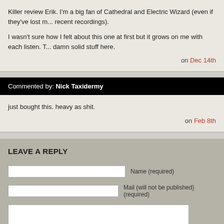Killer review Erik. I'm a big fan of Cathedral and Electric Wizard (even if they've lost m... recent recordings).

I wasn't sure how I felt about this one at first but it grows on me with each listen. T... damn solid stuff here.
on Dec 14th
Commented by: Nick Taxidermy
just bought this. heavy as shit.
on Feb 8th
LEAVE A REPLY
Name (required)
Mail (will not be published) (required)